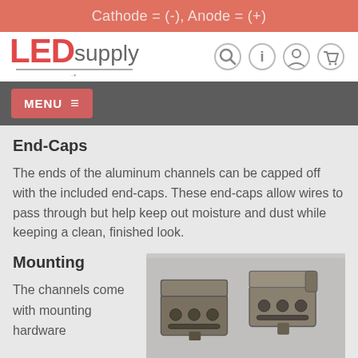Cathode = (-), Anode = (+)
[Figure (logo): LEDsupply website logo with red LED text and gray supply text, with navigation icons (search, info, account, cart)]
MENU ≡
End-Caps
The ends of the aluminum channels can be capped off with the included end-caps. These end-caps allow wires to pass through but help keep out moisture and dust while keeping a clean, finished look.
Mounting
The channels come with mounting hardware
[Figure (photo): Two metal mounting bracket clips for LED aluminum channels, shown on a gray background]